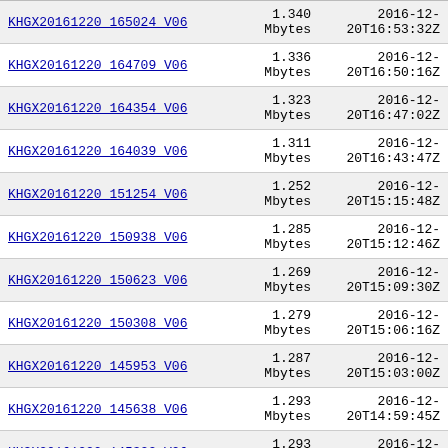| Name | Size | Date |
| --- | --- | --- |
| KHGX20161220_165024_V06 | 1.340 Mbytes | 2016-12-20T16:53:32Z |
| KHGX20161220_164709_V06 | 1.336 Mbytes | 2016-12-20T16:50:16Z |
| KHGX20161220_164354_V06 | 1.323 Mbytes | 2016-12-20T16:47:02Z |
| KHGX20161220_164039_V06 | 1.311 Mbytes | 2016-12-20T16:43:47Z |
| KHGX20161220_151254_V06 | 1.252 Mbytes | 2016-12-20T15:15:48Z |
| KHGX20161220_150938_V06 | 1.285 Mbytes | 2016-12-20T15:12:46Z |
| KHGX20161220_150623_V06 | 1.269 Mbytes | 2016-12-20T15:09:30Z |
| KHGX20161220_150308_V06 | 1.279 Mbytes | 2016-12-20T15:06:16Z |
| KHGX20161220_145953_V06 | 1.287 Mbytes | 2016-12-20T15:03:00Z |
| KHGX20161220_145638_V06 | 1.293 Mbytes | 2016-12-20T14:59:45Z |
| KHGX20161220_145322_V06 | 1.293 Mbytes | 2016-12-20T14:56:31Z |
| KHGX20161220_145007_V06 | 1.286 Mbytes | 2016-12-20T14:53:15Z |